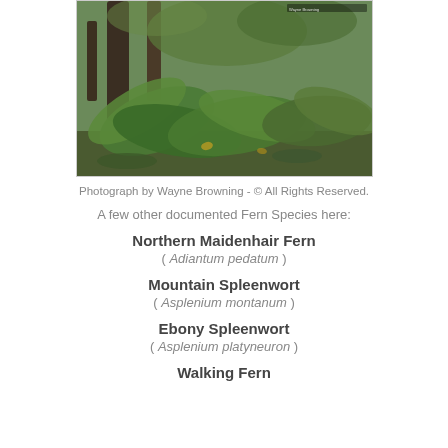[Figure (photo): Forest floor photograph showing ferns and tree trunks in a woodland setting, with green ferns and mossy ground cover. Photograph by Wayne Browning.]
Photograph by Wayne Browning - © All Rights Reserved.
A few other documented Fern Species here:
Northern Maidenhair Fern ( Adiantum pedatum )
Mountain Spleenwort ( Asplenium montanum )
Ebony Spleenwort ( Asplenium platyneuron )
Walking Fern